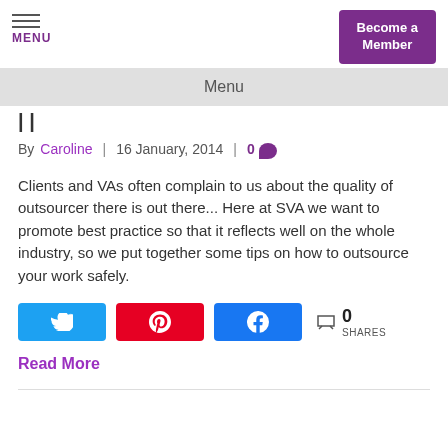MENU | Become a Member
Menu
By Caroline | 16 January, 2014 | 0
Clients and VAs often complain to us about the quality of outsourcer there is out there... Here at SVA we want to promote best practice so that it reflects well on the whole industry, so we put together some tips on how to outsource your work safely.
0 SHARES
Read More